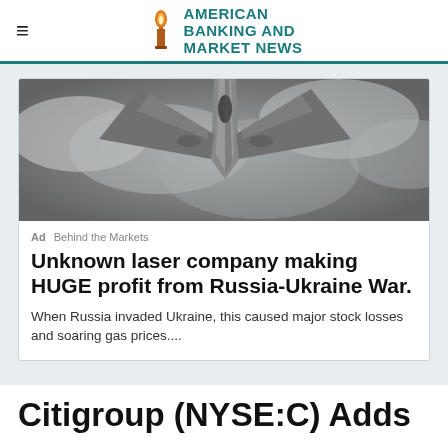AMERICAN BANKING AND MARKET NEWS
[Figure (photo): Close-up underside view of a military jet aircraft against a cloudy sky]
Ad  Behind the Markets
Unknown laser company making HUGE profit from Russia-Ukraine War.
When Russia invaded Ukraine, this caused major stock losses and soaring gas prices....
Citigroup (NYSE:C) Adds